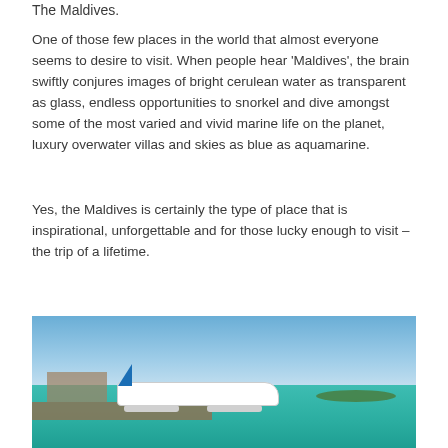The Maldives.
One of those few places in the world that almost everyone seems to desire to visit. When people hear ‘Maldives’, the brain swiftly conjures images of bright cerulean water as transparent as glass, endless opportunities to snorkel and dive amongst some of the most varied and vivid marine life on the planet, luxury overwater villas and skies as blue as aquamarine.
Yes, the Maldives is certainly the type of place that is inspirational, unforgettable and for those lucky enough to visit – the trip of a lifetime.
[Figure (photo): A seaplane docked at a pier in the Maldives, with turquoise water in the foreground and a blue sky in the background. The seaplane has blue and white livery.]